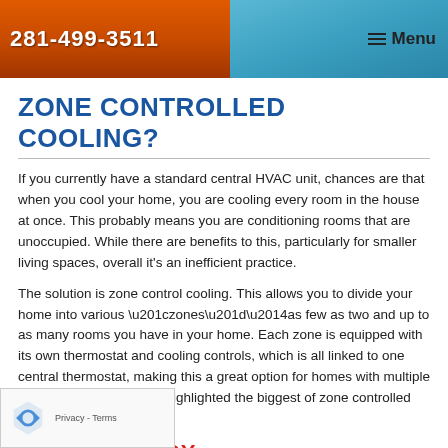281-499-3511  Menu
ZONE CONTROLLED COOLING?
If you currently have a standard central HVAC unit, chances are that when you cool your home, you are cooling every room in the house at once. This probably means you are conditioning rooms that are unoccupied. While there are benefits to this, particularly for smaller living spaces, overall it's an inefficient practice.
The solution is zone control cooling. This allows you to divide your home into various “zones”—as few as two and up to as many rooms you have in your home. Each zone is equipped with its own thermostat and cooling controls, which is all linked to one central thermostat, making this a great option for homes with multiple occupants. Below we've highlighted the biggest of zone controlled systems.
SAVES ENERGY